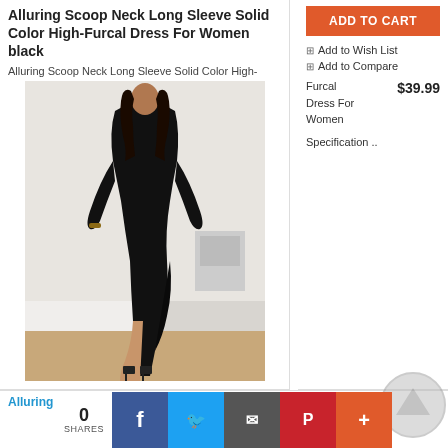Alluring Scoop Neck Long Sleeve Solid Color High-Furcal Dress For Women black
Alluring Scoop Neck Long Sleeve Solid Color High-
[Figure (photo): Woman wearing a black long sleeve scoop neck high-slit maxi dress with strappy heels, posed in a bedroom setting]
ADD TO CART
Add to Wish List
Add to Compare
Furcal Dress For Women  $39.99  Specification ..
Alluring Scoop Neck Lo...
0 SHARES